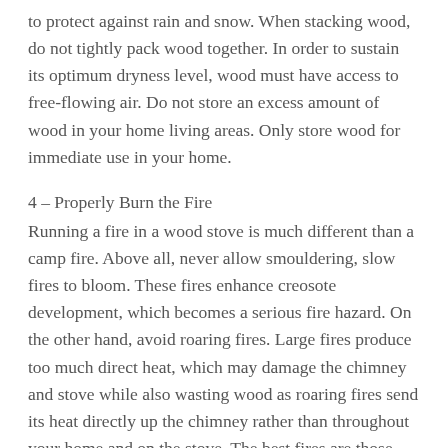to protect against rain and snow. When stacking wood, do not tightly pack wood together. In order to sustain its optimum dryness level, wood must have access to free-flowing air. Do not store an excess amount of wood in your home living areas. Only store wood for immediate use in your home.
4 – Properly Burn the Fire
Running a fire in a wood stove is much different than a camp fire. Above all, never allow smouldering, slow fires to bloom. These fires enhance creosote development, which becomes a serious fire hazard. On the other hand, avoid roaring fires. Large fires produce too much direct heat, which may damage the chimney and stove while also wasting wood as roaring fires send its heat directly up the chimney rather than throughout your home and on the stove. The best fires are those produce moderately-sized flames and practically no smoke within the stove